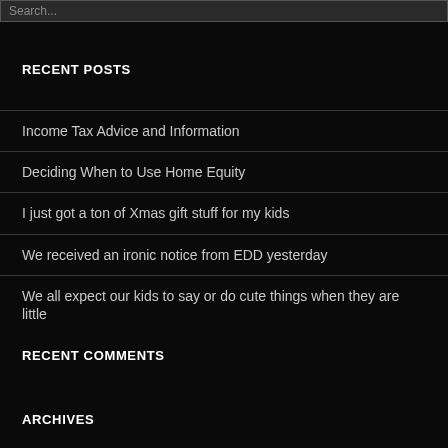Search...
RECENT POSTS
Income Tax Advice and Information
Deciding When to Use Home Equity
I just got a ton of Xmas gift stuff for my kids
We received an ironic notice from EDD yesterday
We all expect our kids to say or do cute things when they are little
RECENT COMMENTS
ARCHIVES